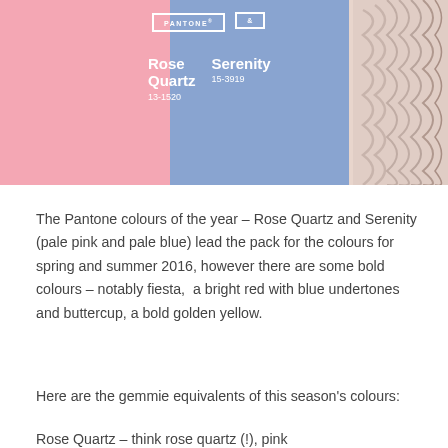[Figure (photo): Pantone colour of the year promotional image showing Rose Quartz (pale pink, 13-1520) and Serenity (pale blue, 15-3919) with models wearing those colours and a textured background on the right]
The Pantone colours of the year – Rose Quartz and Serenity (pale pink and pale blue) lead the pack for the colours for spring and summer 2016, however there are some bold colours – notably fiesta, a bright red with blue undertones and buttercup, a bold golden yellow.
Here are the gemmie equivalents of this season's colours:
Rose Quartz – think rose quartz (!), pink